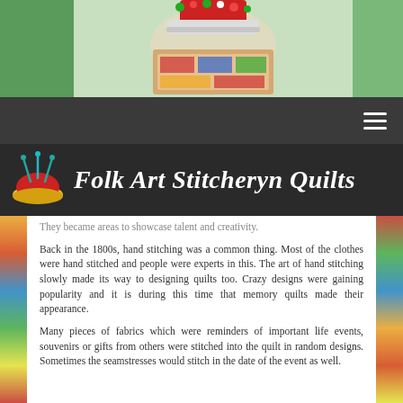[Figure (photo): Top photograph showing a decorative Christmas figure or ornament on a green background]
[Figure (logo): Folk Art Stitcheryn Quilts logo with pincushion icon and decorative serif text on dark background]
They became areas to showcase talent and creativity.
Back in the 1800s, hand stitching was a common thing. Most of the clothes were hand stitched and people were experts in this. The art of hand stitching slowly made its way to designing quilts too. Crazy designs were gaining popularity and it is during this time that memory quilts made their appearance.
Many pieces of fabrics which were reminders of important life events, souvenirs or gifts from others were stitched into the quilt in random designs. Sometimes the seamstresses would stitch in the date of the event as well.